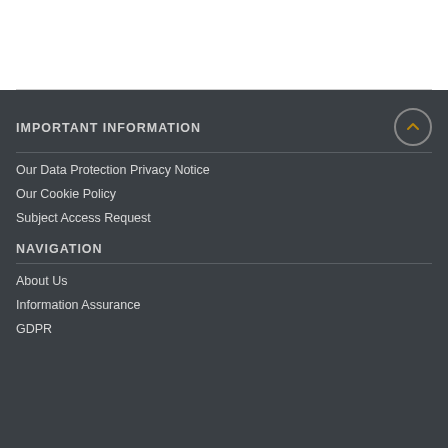IMPORTANT INFORMATION
Our Data Protection Privacy Notice
Our Cookie Policy
Subject Access Request
NAVIGATION
About Us
Information Assurance
GDPR